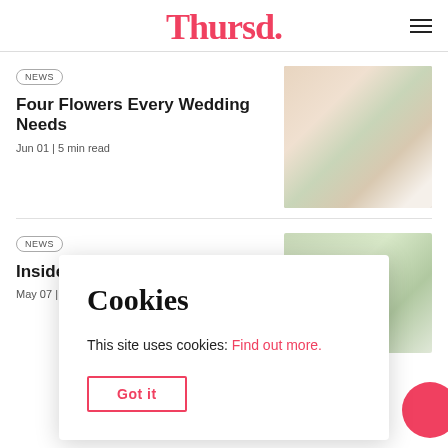Thursd.
NEWS
Four Flowers Every Wedding Needs
Jun 01 | 5 min read
[Figure (photo): Bride holding white lily and flower bouquet from behind, wearing lace wedding dress]
NEWS
Inside a Ce
May 07 | 2 m
[Figure (photo): Venue or garden photo partially obscured by cookie dialog]
Cookies

This site uses cookies: Find out more.

Got it